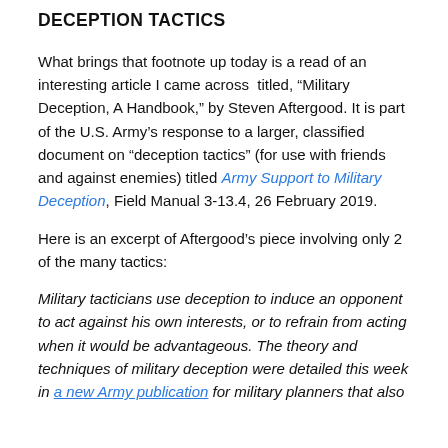DECEPTION TACTICS
What brings that footnote up today is a read of an interesting article I came across titled, “Military Deception, A Handbook,” by Steven Aftergood. It is part of the U.S. Army’s response to a larger, classified document on “deception tactics” (for use with friends and against enemies) titled Army Support to Military Deception, Field Manual 3-13.4, 26 February 2019.
Here is an excerpt of Aftergood’s piece involving only 2 of the many tactics:
Military tacticians use deception to induce an opponent to act against his own interests, or to refrain from acting when it would be advantageous. The theory and techniques of military deception were detailed this week in a new Army publication for military planners that also